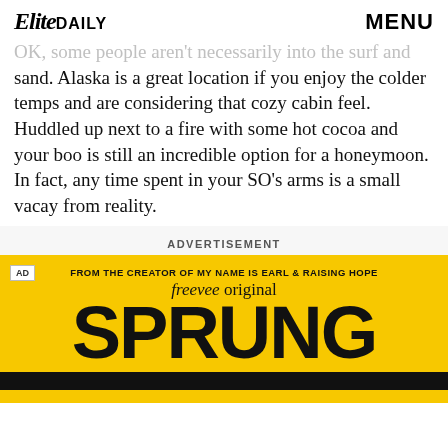Elite DAILY   MENU
OK, some people aren't necessarily into the surf and sand. Alaska is a great location if you enjoy the colder temps and are considering that cozy cabin feel. Huddled up next to a fire with some hot cocoa and your boo is still an incredible option for a honeymoon. In fact, any time spent in your SO's arms is a small vacay from reality.
ADVERTISEMENT
[Figure (infographic): Advertisement banner for Amazon Freevee original show 'SPRUNG'. Yellow background with black text. Top line reads 'FROM THE CREATOR OF MY NAME IS EARL & RAISING HOPE', below that 'freevee original' in italics, and large bold text 'SPRUNG' at the bottom. AD badge in top left corner. Black bar at the very bottom.]